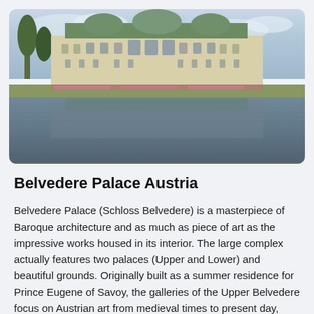[Figure (photo): Photograph of Belvedere Palace in Austria, showing the grand Baroque facade reflected in a large rectangular pool of water in the foreground. The palace features a green copper roof with ornate decorations. Trees are visible on the left side.]
Belvedere Palace Austria
Belvedere Palace (Schloss Belvedere) is a masterpiece of Baroque architecture and as much as piece of art as the impressive works housed in its interior. The large complex actually features two palaces (Upper and Lower) and beautiful grounds. Originally built as a summer residence for Prince Eugene of Savoy, the galleries of the Upper Belvedere focus on Austrian art from medieval times to present day, emphasising Austrian culture and history while the Lower Belvedere hosts temporary exhibitions. The grounds also feature the Orangery, Palace Stables which have been converted into a...